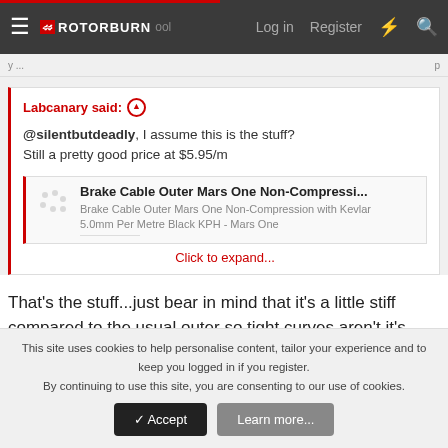ROTORBURN — Log in | Register
Labcanary said: ⊕
@silentbutdeadly, I assume this is the stuff?
Still a pretty good price at $5.95/m
Brake Cable Outer Mars One Non-Compressi...
Brake Cable Outer Mars One Non-Compression with Kevlar 5.0mm Per Metre Black KPH - Mars One
Click to expand...
That's the stuff...just bear in mind that it's a little stiff compared to the usual outer so tight curves aren't it's thing and the outer plastic is hard so more frame protection might be required.
This site uses cookies to help personalise content, tailor your experience and to keep you logged in if you register.
By continuing to use this site, you are consenting to our use of cookies.
✓ Accept | Learn more...